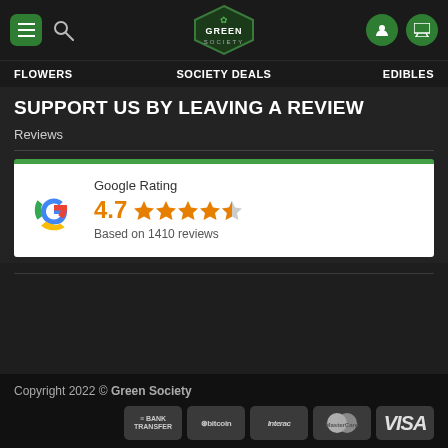Green Society - navigation header with menu, search, logo, user and cart icons
FLOWERS   SOCIETY DEALS   EDIBLES
SUPPORT US BY LEAVING A REVIEW
Reviews
[Figure (infographic): Google Rating widget showing 4.7 stars based on 1410 reviews, with Google G logo in red/yellow/green/blue colors and 5 orange stars (4 full, 1 half)]
Copyright 2022 © Green Society — payment icons: Bank Transfer, Bitcoin, Interac, MasterCard, VISA